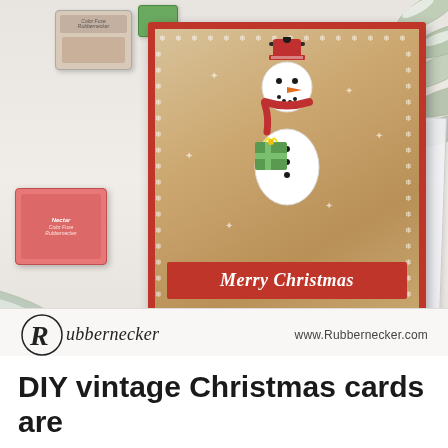[Figure (photo): A crafting scene showing a handmade Christmas card featuring a snowman holding a gift, wearing a red hat and scarf, on a kraft/brown snowflake-patterned background with 'Merry Christmas' banner in red. Surrounded by pine branches, ink pads (tan and red/Nectar color), and a stamp sheet with Merry Christmas text. Rubbernecker logo and website at bottom of image.]
DIY vintage Christmas cards are